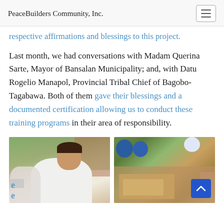PeaceBuilders Community, Inc.
respective affirmations and blessings to this project.
Last month, we had conversations with Madam Querina Sarte, Mayor of Bansalan Municipality; and, with Datu Rogelio Manapol, Provincial Tribal Chief of Bagobo-Tagabawa. Both of them gave their blessings and a documented certification allowing us to conduct these training programs in their area of responsibility.
[Figure (photo): Photo of a woman speaking, likely Madam Querina Sarte, Mayor of Bansalan Municipality, wearing white clothes, with another person wearing a mask visible in background]
[Figure (photo): Aerial/overhead photo of a group activity with people wearing blue caps working on documents or crafts on a table]